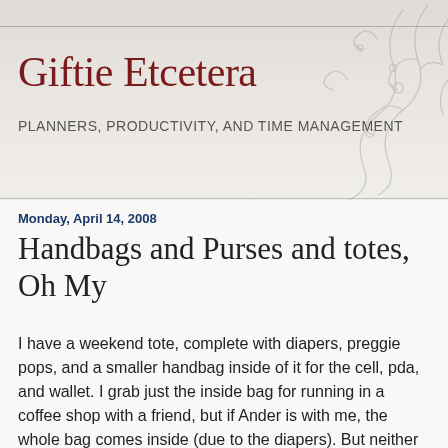Giftie Etcetera
PLANNERS, PRODUCTIVITY, AND TIME MANAGEMENT
Monday, April 14, 2008
Handbags and Purses and totes, Oh My
I have a weekend tote, complete with diapers, preggie pops, and a smaller handbag inside of it for the cell, pda, and wallet. I grab just the inside bag for running in a coffee shop with a friend, but if Ander is with me, the whole bag comes inside (due to the diapers). But neither bag is really appropriate for work. And nothing I own is appropriate for a wedding, although usually, for formal occasions, I just hand Alan my id and cell phone for his pockets. I think that drives